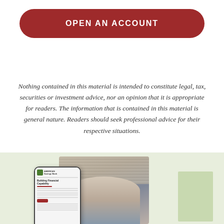[Figure (other): Red rounded-rectangle button reading OPEN AN ACCOUNT in white uppercase bold letters]
Nothing contained in this material is intended to constitute legal, tax, securities or investment advice, nor an opinion that it is appropriate for readers. The information that is contained in this material is general nature. Readers should seek professional advice for their respective situations.
[Figure (photo): A woman sitting on a couch using a smartphone, with window blinds in the background. In the foreground, a phone mockup displays an American Savings Bank interface with the heading 'Building Financial Capability'. The scene is set against a light green background with a green accent block on the right. The American Savings Bank app shows form fields and a red button.]